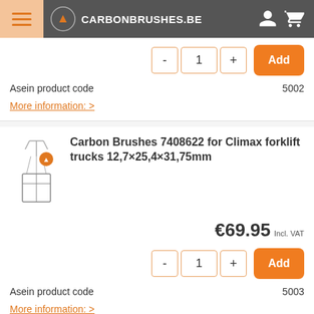CARBONBRUSHES.BE
Asein product code   5002
More information: >
Carbon Brushes 7408622 for Climax forklift trucks 12,7×25,4×31,75mm
€69.95 Incl. VAT
Asein product code   5003
More information: >